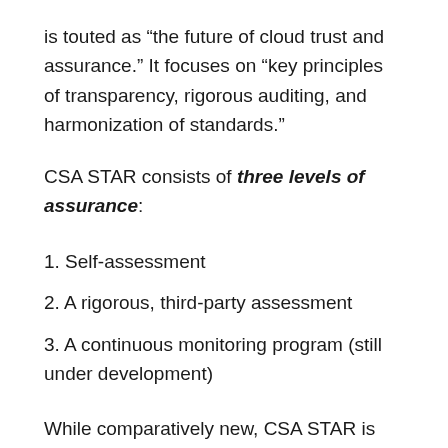is touted as “the future of cloud trust and assurance.” It focuses on “key principles of transparency, rigorous auditing, and harmonization of standards.”
CSA STAR consists of three levels of assurance:
1. Self-assessment
2. A rigorous, third-party assessment
3. A continuous monitoring program (still under development)
While comparatively new, CSA STAR is intended to augment the controls of ISO 2700,